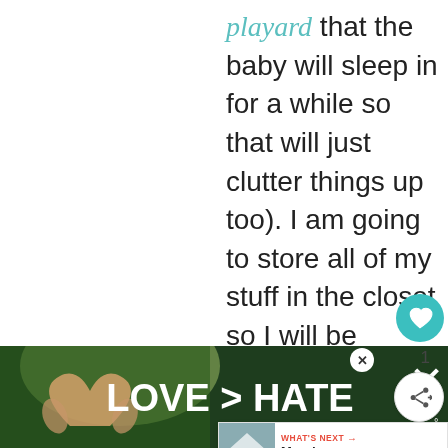playard that the baby will sleep in for a while so that will just clutter things up too). I am going to store all of my stuff in the closet so I will be getting my shelving and stuff done rather quickly (hopefully).
[Figure (other): Advertisement banner with hands making a heart shape over green nature background, with white text 'LOVE > HATE' and a close button and W logo]